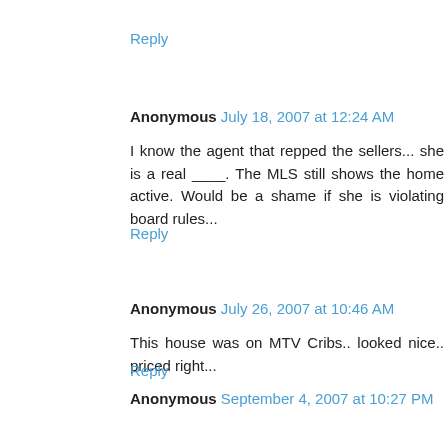Reply
Anonymous July 18, 2007 at 12:24 AM
I know the agent that repped the sellers... she is a real ____. The MLS still shows the home active. Would be a shame if she is violating board rules...
Reply
Anonymous July 26, 2007 at 10:46 AM
This house was on MTV Cribs.. looked nice.. priced right...
Reply
Anonymous September 4, 2007 at 10:27 PM
Artwork from Pier 1? I know I've seen that Hindu wall art in the dining room at Pier 1. That's cool, though...
Reply